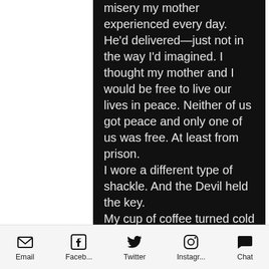misery my mother experienced every day. He'd delivered—just not in the way I'd imagined. I thought my mother and I would be free to live our lives in peace. Neither of us got peace and only one of us was free. At least from prison.
I wore a different type of shackle. And the Devil held the key.
My cup of coffee turned cold as I contemplated the fateful night I'd made a horrible decision that changed both my and my mother's lives for the worse. He'd seemed pleased with his work and, despite my arguments to the contrary, assured me he'd kept his end of the
Email   Faceb...   Twitter   Instagr...   Chat